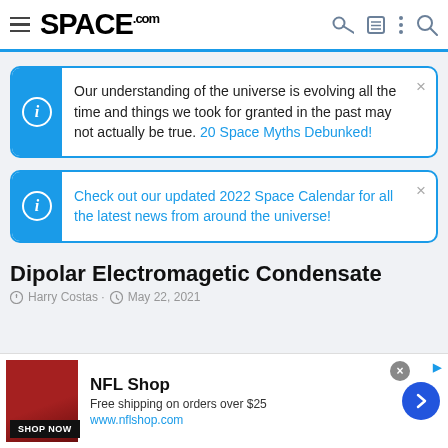SPACE.com
Our understanding of the universe is evolving all the time and things we took for granted in the past may not actually be true. 20 Space Myths Debunked!
Check out our updated 2022 Space Calendar for all the latest news from around the universe!
Dipolar Electromagetic Condensate
Harry Costas · May 22, 2021
[Figure (screenshot): NFL Shop advertisement banner with red jersey image, 'SHOP NOW' button, free shipping info, and navigation arrow]